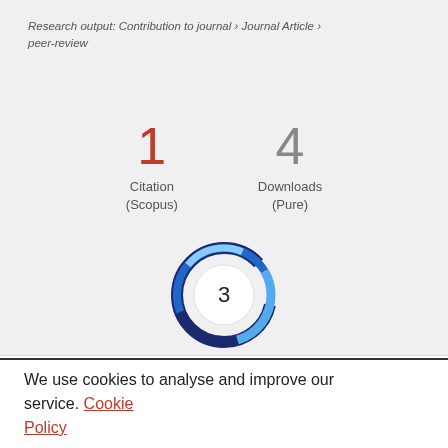Research output: Contribution to journal › Journal Article › peer-review
1
Citation
(Scopus)
4
Downloads
(Pure)
[Figure (donut-chart): Altmetric donut chart showing score of 3, rendered as a blue swirl/donut badge]
Overview   Fingerprint
We use cookies to analyse and improve our service. Cookie Policy